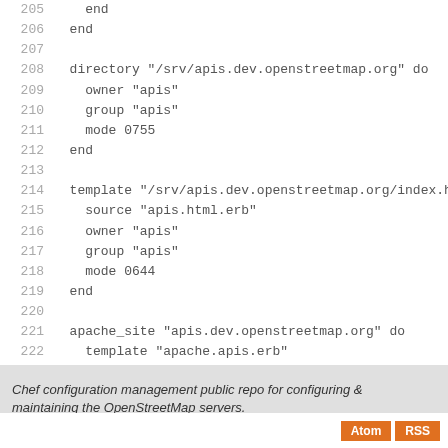[Figure (screenshot): Code listing showing lines 205-231 of a Chef configuration script for OpenStreetMap servers. Code includes directory, template, apache_site, and node postgresql cluster configuration blocks.]
Chef configuration management public repo for configuring & maintaining the OpenStreetMap servers.
Atom  RSS